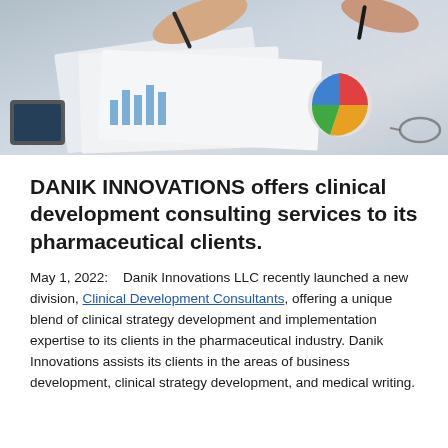[Figure (photo): Business meeting scene with hands pointing at financial charts and documents on a desk, including a colorful pie chart]
DANIK INNOVATIONS offers clinical development consulting services to its pharmaceutical clients.
May 1, 2022:    Danik Innovations LLC recently launched a new division, Clinical Development Consultants, offering a unique blend of clinical strategy development and implementation expertise to its clients in the pharmaceutical industry. Danik Innovations assists its clients in the areas of business development, clinical strategy development, and medical writing.